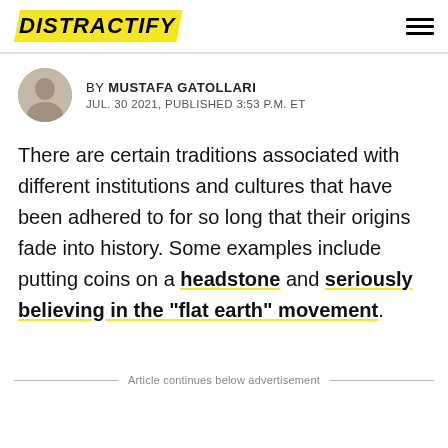DISTRACTIFY
BY MUSTAFA GATOLLARI
JUL. 30 2021, PUBLISHED 3:53 P.M. ET
There are certain traditions associated with different institutions and cultures that have been adhered to for so long that their origins fade into history. Some examples include putting coins on a headstone and seriously believing in the "flat earth" movement.
Article continues below advertisement